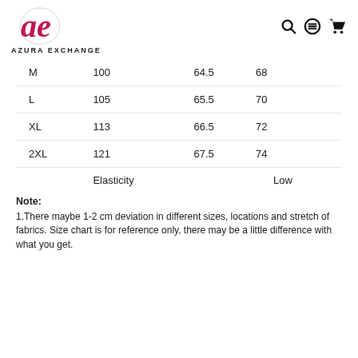AZURA EXCHANGE
|  |  |  |  |
| --- | --- | --- | --- |
| M | 100 | 64.5 | 68 |
| L | 105 | 65.5 | 70 |
| XL | 113 | 66.5 | 72 |
| 2XL | 121 | 67.5 | 74 |
| Elasticity |  | Low |  |
Note:
1.There maybe 1-2 cm deviation in different sizes, locations and stretch of fabrics. Size chart is for reference only, there may be a little difference with what you get.